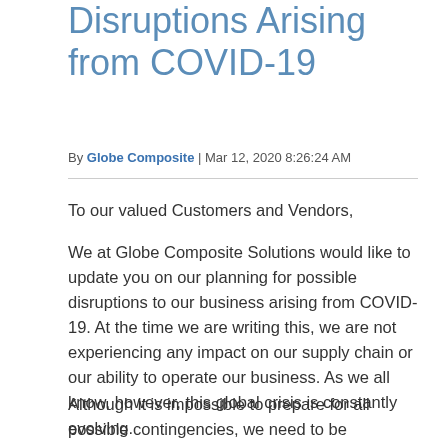Disruptions Arising from COVID-19
By Globe Composite | Mar 12, 2020 8:26:24 AM
To our valued Customers and Vendors,
We at Globe Composite Solutions would like to update you on our planning for possible disruptions to our business arising from COVID-19. At the time we are writing this, we are not experiencing any impact on our supply chain or our ability to operate our business. As we all know, however, this global crisis is constantly evolving.
Although it is impossible to prepare for all possible contingencies, we need to be proactive and prepare for those things we can do.